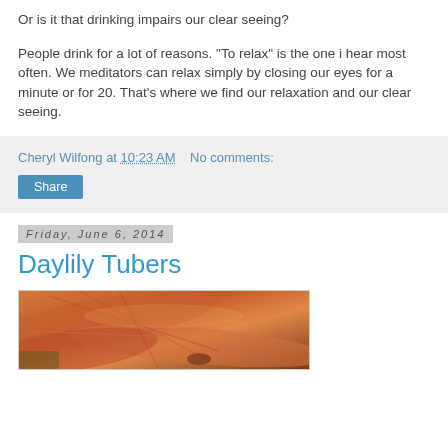Or is it that drinking impairs our clear seeing?
People drink for a lot of reasons. "To relax" is the one i hear most often. We meditators can relax simply by closing our eyes for a minute or for 20. That's where we find our relaxation and our clear seeing.
Cheryl Wilfong at 10:23 AM   No comments:
Share
Friday, June 6, 2014
Daylily Tubers
[Figure (photo): Close-up photo of orange daylily tubers/petals]